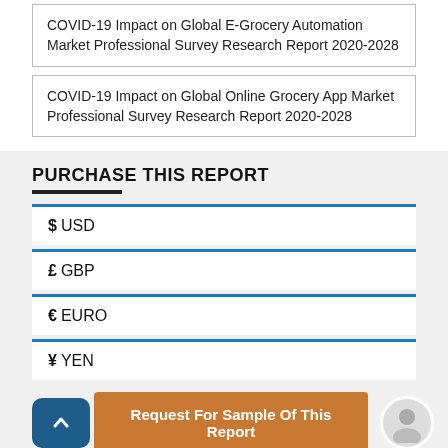COVID-19 Impact on Global E-Grocery Automation Market Professional Survey Research Report 2020-2028
COVID-19 Impact on Global Online Grocery App Market Professional Survey Research Report 2020-2028
PURCHASE THIS REPORT
$ USD
£ GBP
€ EURO
¥ YEN
Request For Sample Of This Report